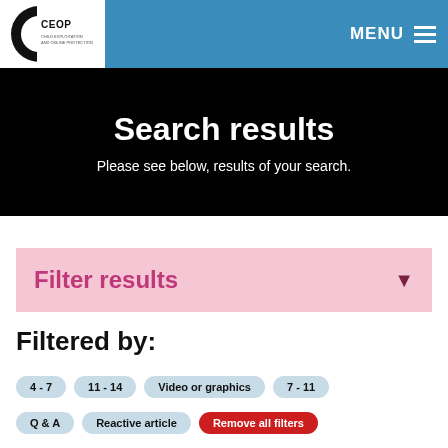[Figure (logo): CEOP logo - circular C shape with CEOP text, black and white]
MENU
Search results
Please see below, results of your search.
Filter results
Filtered by:
4 - 7
11 - 14
Video or graphics
7 - 11
Q & A
Reactive article
Remove all filters